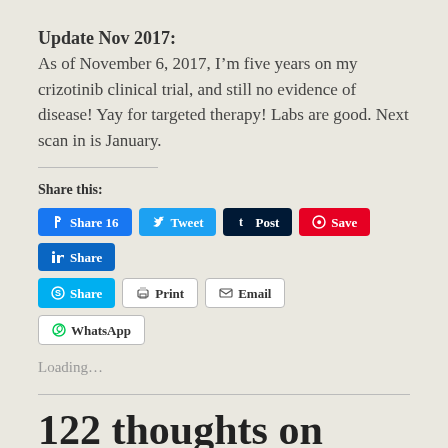Update Nov 2017:
As of November 6, 2017, I’m five years on my crizotinib clinical trial, and still no evidence of disease! Yay for targeted therapy! Labs are good. Next scan in is January.
Share this:
[Figure (screenshot): Social share buttons: Facebook Share 16, Tweet, Tumblr Post, Pinterest Save, LinkedIn Share, Skype Share, Print, Email, WhatsApp]
Loading...
122 thoughts on “My Lung